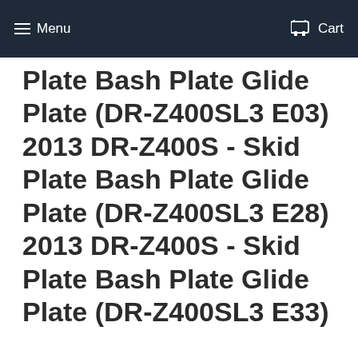Menu  Cart
Plate Bash Plate Glide Plate (DR-Z400SL3 E03)
2013 DR-Z400S - Skid Plate Bash Plate Glide Plate (DR-Z400SL3 E28)
2013 DR-Z400S - Skid Plate Bash Plate Glide Plate (DR-Z400SL3 E33)